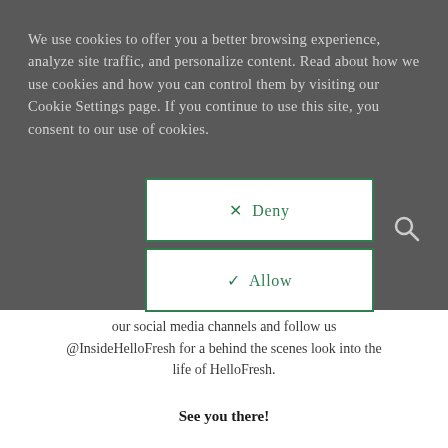We use cookies to offer you a better browsing experience, analyze site traffic, and personalize content. Read about how we use cookies and how you can control them by visiting our Cookie Settings page. If you continue to use this site, you consent to our use of cookies.
✕ Deny
✓ Allow
our social media channels and follow us @InsideHelloFresh for a behind the scenes look into the life of HelloFresh.
See you there!